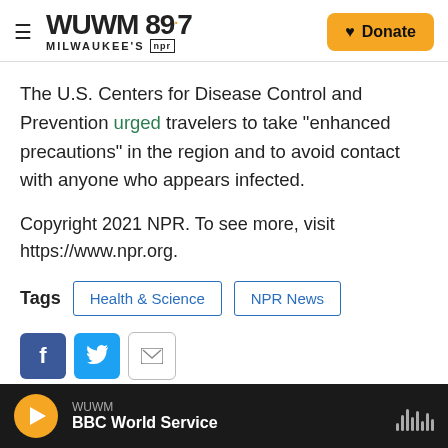WUWM 89.7 Milwaukee's NPR | Donate
The U.S. Centers for Disease Control and Prevention urged travelers to take "enhanced precautions" in the region and to avoid contact with anyone who appears infected.
Copyright 2021 NPR. To see more, visit https://www.npr.org.
Tags  Health & Science  NPR News
[Figure (other): Social share buttons: Facebook, Twitter, Email]
WUWM  BBC World Service